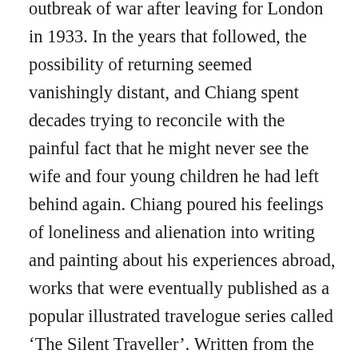outbreak of war after leaving for London in 1933. In the years that followed, the possibility of returning seemed vanishingly distant, and Chiang spent decades trying to reconcile with the painful fact that he might never see the wife and four young children he had left behind again. Chiang poured his feelings of loneliness and alienation into writing and painting about his experiences abroad, works that were eventually published as a popular illustrated travelogue series called ‘The Silent Traveller’. Written from the perspective of a self-described ‘homesick Easterner’, many credited Chiang’s best-selling series with making Chinese culture and art accessible to mid-century Anglo-American audiences.